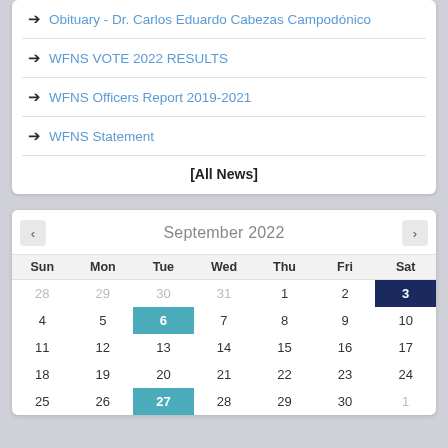➔ Obituary - Dr. Carlos Eduardo Cabezas Campodónico
➔ WFNS VOTE 2022 RESULTS
➔ WFNS Officers Report 2019-2021
➔ WFNS Statement
[All News]
| Sun | Mon | Tue | Wed | Thu | Fri | Sat |
| --- | --- | --- | --- | --- | --- | --- |
| 28 | 29 | 30 | 31 | 1 | 2 | 3 |
| 4 | 5 | 6 | 7 | 8 | 9 | 10 |
| 11 | 12 | 13 | 14 | 15 | 16 | 17 |
| 18 | 19 | 20 | 21 | 22 | 23 | 24 |
| 25 | 26 | 27 | 28 | 29 | 30 | 1 |